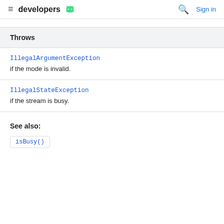developers | Sign in
| Throws |
| --- |
| IllegalArgumentException | if the mode is invalid. |
| IllegalStateException | if the stream is busy. |
See also:
isBusy()